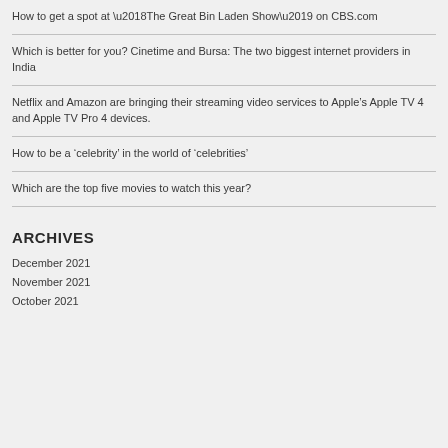How to get a spot at ‘The Great Bin Laden Show’ on CBS.com
Which is better for you? Cinetime and Bursa: The two biggest internet providers in India
Netflix and Amazon are bringing their streaming video services to Apple’s Apple TV 4 and Apple TV Pro 4 devices.
How to be a ‘celebrity’ in the world of ‘celebrities’
Which are the top five movies to watch this year?
ARCHIVES
December 2021
November 2021
October 2021